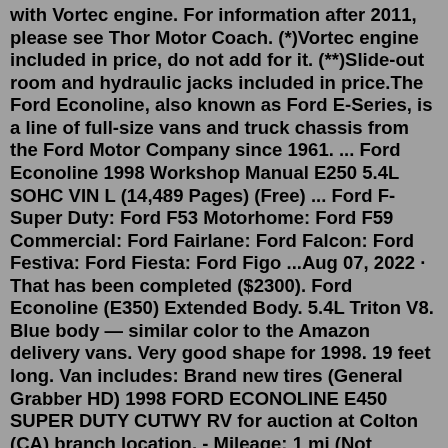with Vortec engine. For information after 2011, please see Thor Motor Coach. (*)Vortec engine included in price, do not add for it. (**)Slide-out room and hydraulic jacks included in price.The Ford Econoline, also known as Ford E-Series, is a line of full-size vans and truck chassis from the Ford Motor Company since 1961. ... Ford Econoline 1998 Workshop Manual E250 5.4L SOHC VIN L (14,489 Pages) (Free) ... Ford F-Super Duty: Ford F53 Motorhome: Ford F59 Commercial: Ford Fairlane: Ford Falcon: Ford Festiva: Ford Fiesta: Ford Figo ...Aug 07, 2022 · That has been completed ($2300). Ford Econoline (E350) Extended Body. 5.4L Triton V8. Blue body — similar color to the Amazon delivery vans. Very good shape for 1998. 19 feet long. Van includes: Brand new tires (General Grabber HD) 1998 FORD ECONOLINE E450 SUPER DUTY CUTWY RV for auction at Colton (CA) branch location. - Mileage: 1 mi (Not Required/Exempt) - Color: WHITE - Stock: 33037543 1998 Ford Econoline E250 Cargo Styles Lowest-